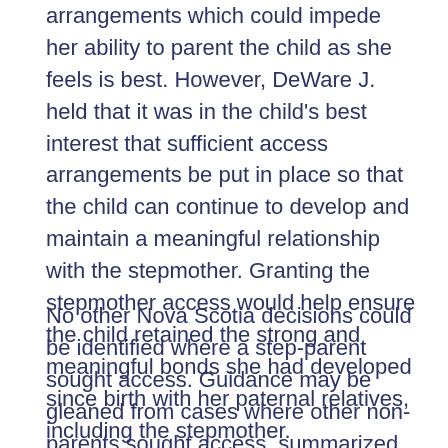arrangements which could impede her ability to parent the child as she feels is best. However, DeWare J. held that it was in the child's best interest that sufficient access arrangements be put in place so that the child can continue to develop and maintain a meaningful relationship with the stepmother. Granting the stepmother access would help ensure the child retained the strong and meaningful bonds she had developed since birth with her paternal relatives, including the stepmother.
No other Nova Scotia decisions could be identified where a step-parent sought access. Guidance may be gleaned from cases where other non-parents sought access, summarized below.